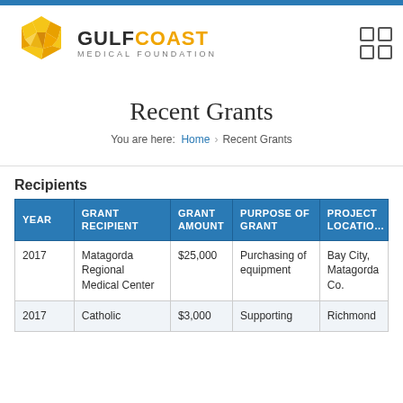[Figure (logo): Gulf Coast Medical Foundation logo with hexagonal golden icon and text]
Recent Grants
You are here: Home > Recent Grants
Recipients
| YEAR | GRANT RECIPIENT | GRANT AMOUNT | PURPOSE OF GRANT | PROJECT LOCATION |
| --- | --- | --- | --- | --- |
| 2017 | Matagorda Regional Medical Center | $25,000 | Purchasing of equipment | Bay City, Matagorda Co. |
| 2017 | Catholic | $3,000 | Supporting | Richmond |